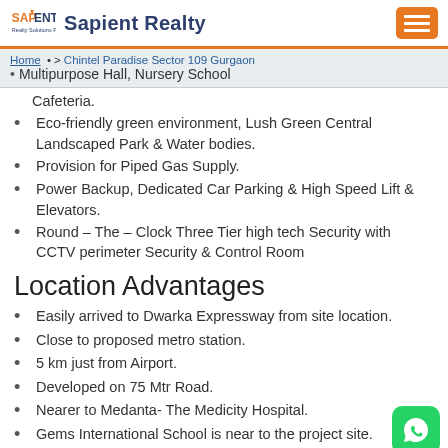Sapient Realty
Home > Chintel Paradise Sector 109 Gurgaon
Cafeteria.
Multipurpose Hall, Nursery School
Eco-friendly green environment, Lush Green Central Landscaped Park & Water bodies.
Provision for Piped Gas Supply.
Power Backup, Dedicated Car Parking & High Speed Lift & Elevators.
Round – The – Clock Three Tier high tech Security with CCTV perimeter Security & Control Room
Location Advantages
Easily arrived to Dwarka Expressway from site location.
Close to proposed metro station.
5 km just from Airport.
Developed on 75 Mtr Road.
Nearer to Medanta- The Medicity Hospital.
Gems International School is near to the project site.